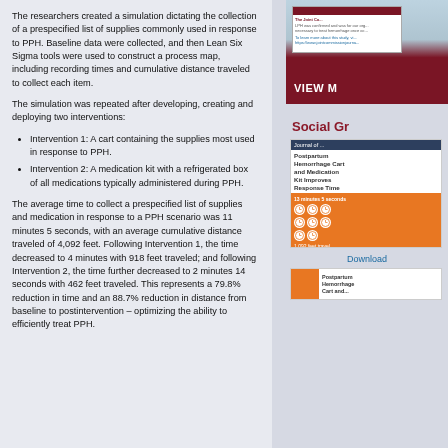The researchers created a simulation dictating the collection of a prespecified list of supplies commonly used in response to PPH. Baseline data were collected, and then Lean Six Sigma tools were used to construct a process map, including recording times and cumulative distance traveled to collect each item.
The simulation was repeated after developing, creating and deploying two interventions:
Intervention 1: A cart containing the supplies most used in response to PPH.
Intervention 2: A medication kit with a refrigerated box of all medications typically administered during PPH.
The average time to collect a prespecified list of supplies and medication in response to a PPH scenario was 11 minutes 5 seconds, with an average cumulative distance traveled of 4,092 feet. Following Intervention 1, the time decreased to 4 minutes with 918 feet traveled; and following Intervention 2, the time further decreased to 2 minutes 14 seconds with 462 feet traveled. This represents a 79.8% reduction in time and an 88.7% reduction in distance from baseline to postintervention – optimizing the ability to efficiently treat PPH.
[Figure (screenshot): Right sidebar with journal article thumbnail and burgundy bar]
[Figure (screenshot): VIEW MORE button in burgundy]
Social Gr
[Figure (screenshot): Social card showing Postpartum Hemorrhage Cart and Medication Kit Improves Response Time with orange clock icons]
Download
[Figure (screenshot): Bottom card - Postpartum Hemorrhage with orange sidebar]